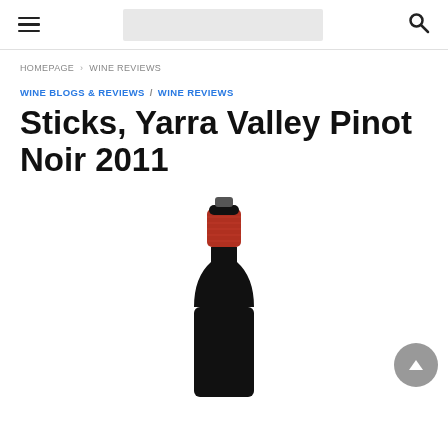≡ [logo] 🔍
HOMEPAGE › WINE REVIEWS
WINE BLOGS & REVIEWS / WINE REVIEWS
Sticks, Yarra Valley Pinot Noir 2011
[Figure (photo): Wine bottle top view showing a dark bottle with red foil capsule on white background, cropped showing upper portion of bottle]